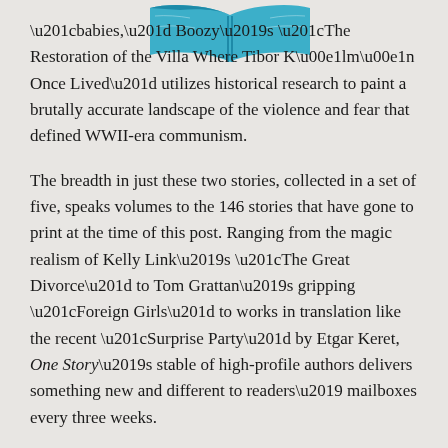[Figure (logo): Open book logo with teal/blue pages, representing One Story publication]
“babies,” Boozy’s “The Restoration of the Villa Where Tibor Kálmán Once Lived” utilizes historical research to paint a brutally accurate landscape of the violence and fear that defined WWII-era communism.

The breadth in just these two stories, collected in a set of five, speaks volumes to the 146 stories that have gone to print at the time of this post. Ranging from the magic realism of Kelly Link’s “The Great Divorce” to Tom Grattan’s gripping “Foreign Girls” to works in translation like the recent “Surprise Party” by Etgar Keret, One Story’s stable of high-profile authors delivers something new and different to readers’ mailboxes every three weeks.